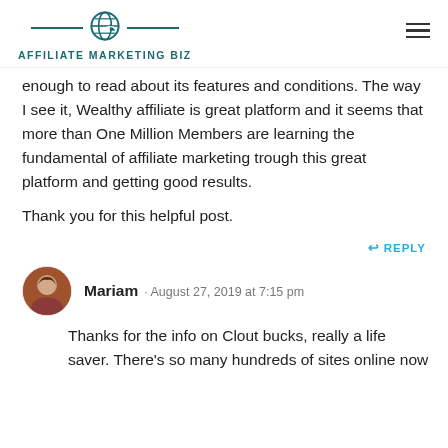AFFILIATE MARKETING BIZ
enough to read about its features and conditions. The way I see it, Wealthy affiliate is great platform and it seems that more than One Million Members are learning the fundamental of affiliate marketing trough this great platform and getting good results.

Thank you for this helpful post.
REPLY
Mariam · August 27, 2019 at 7:15 pm
Thanks for the info on Clout bucks, really a life saver. There's so many hundreds of sites online now